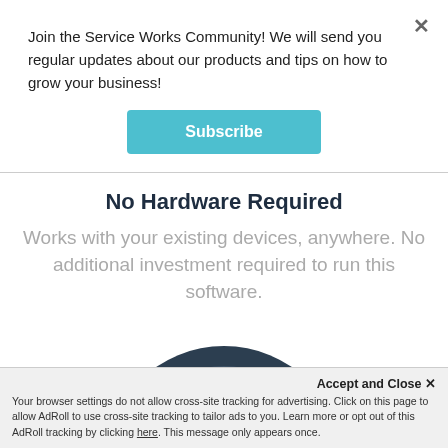Join the Service Works Community! We will send you regular updates about our products and tips on how to grow your business!
[Figure (other): Subscribe button - teal/cyan rounded rectangle button with white text 'Subscribe']
No Hardware Required
Works with your existing devices, anywhere. No additional investment required to run this software.
[Figure (other): Partial circular device/hardware illustration visible at the bottom, dark arc shape on white/light background]
Accept and Close ✕
Your browser settings do not allow cross-site tracking for advertising. Click on this page to allow AdRoll to use cross-site tracking to tailor ads to you. Learn more or opt out of this AdRoll tracking by clicking here. This message only appears once.